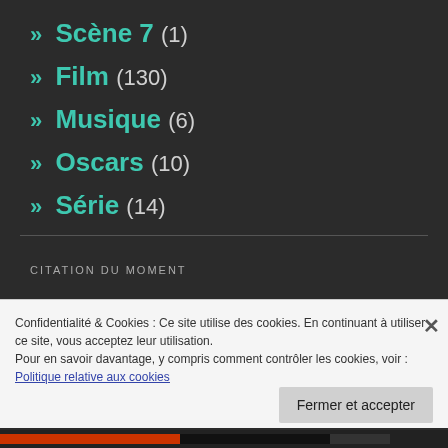» Scène 7 (1)
» Film (130)
» Musique (6)
» Oscars (10)
» Série (14)
CITATION DU MOMENT
« I'm not the First Lady anymore. You can call me Jackie. »
Confidentialité & Cookies : Ce site utilise des cookies. En continuant à utiliser ce site, vous acceptez leur utilisation.
Pour en savoir davantage, y compris comment contrôler les cookies, voir : Politique relative aux cookies
Fermer et accepter